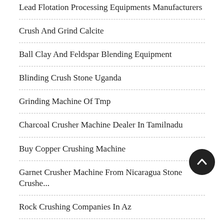Lead Flotation Processing Equipments Manufacturers
Crush And Grind Calcite
Ball Clay And Feldspar Blending Equipment
Blinding Crush Stone Uganda
Grinding Machine Of Tmp
Charcoal Crusher Machine Dealer In Tamilnadu
Buy Copper Crushing Machine
Garnet Crusher Machine From Nicaragua Stone Crushe...
Rock Crushing Companies In Az
Used Rock Crushing Equipment Sal